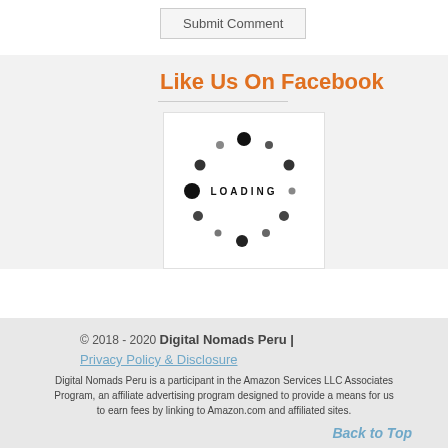Submit Comment
Like Us On Facebook
[Figure (other): Loading spinner graphic with dots arranged in a circle and the text LOADING in the center]
© 2018 - 2020 Digital Nomads Peru | Privacy Policy & Disclosure
Digital Nomads Peru is a participant in the Amazon Services LLC Associates Program, an affiliate advertising program designed to provide a means for us to earn fees by linking to Amazon.com and affiliated sites.
Back to Top